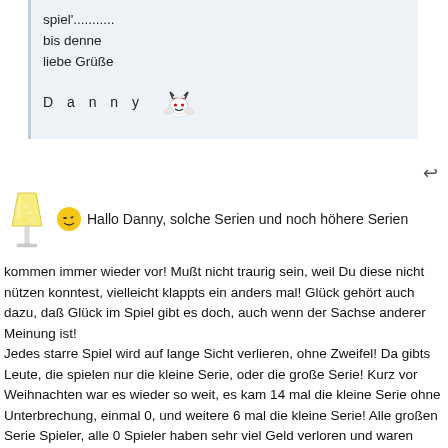spiel'.........
bis denne
liebe Grüße

D a n n y
Hallo Danny, solche Serien und noch höhere Serien kommen immer wieder vor! Mußt nicht traurig sein, weil Du diese nicht nützen konntest, vielleicht klappts ein anders mal! Glück gehört auch dazu, daß Glück im Spiel gibt es doch, auch wenn der Sachse anderer Meinung ist! Jedes starre Spiel wird auf lange Sicht verlieren, ohne Zweifel! Da gibts Leute, die spielen nur die kleine Serie, oder die große Serie! Kurz vor Weihnachten war es wieder so weit, es kam 14 mal die kleine Serie ohne Unterbrechung, einmal 0, und weitere 6 mal die kleine Serie! Alle großen Serie Spieler, alle 0 Spieler haben sehr viel Geld verloren und waren große Flachgeister, sie haben geschrien, daß gibt es nicht usw, es war alles legal, absolut.